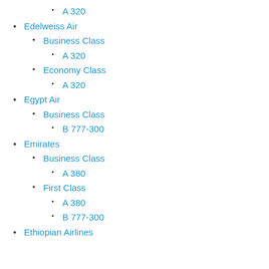A 320
Edelweiss Air
Business Class
A 320
Economy Class
A 320
Egypt Air
Business Class
B 777-300
Emirates
Business Class
A 380
First Class
A 380
B 777-300
Ethiopian Airlines